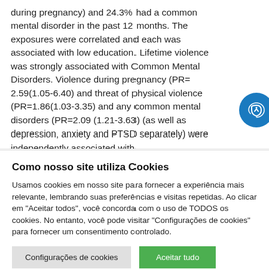during pregnancy) and 24.3% had a common mental disorder in the past 12 months. The exposures were correlated and each was associated with low education. Lifetime violence was strongly associated with Common Mental Disorders. Violence during pregnancy (PR= 2.59(1.05-6.40) and threat of physical violence (PR=1.86(1.03-3.35) and any common mental disorders (PR=2.09 (1.21-3.63) (as well as depression, anxiety and PTSD separately) were independently associated with
Como nosso site utiliza Cookies
Usamos cookies em nosso site para fornecer a experiência mais relevante, lembrando suas preferências e visitas repetidas. Ao clicar em "Aceitar todos", você concorda com o uso de TODOS os cookies. No entanto, você pode visitar "Configurações de cookies" para fornecer um consentimento controlado.